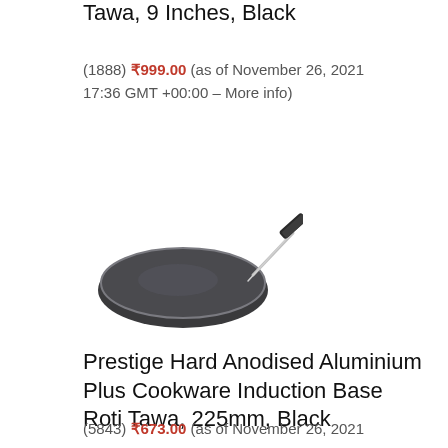Tawa, 9 Inches, Black
(1888) ₹999.00 (as of November 26, 2021 17:36 GMT +00:00 – More info)
[Figure (photo): Photo of a dark hard anodised round tawa (flat pan) with a metal handle, viewed from a slight angle above.]
Prestige Hard Anodised Aluminium Plus Cookware Induction Base Roti Tawa, 225mm, Black
(5843) ₹673.00 (as of November 26, 2021